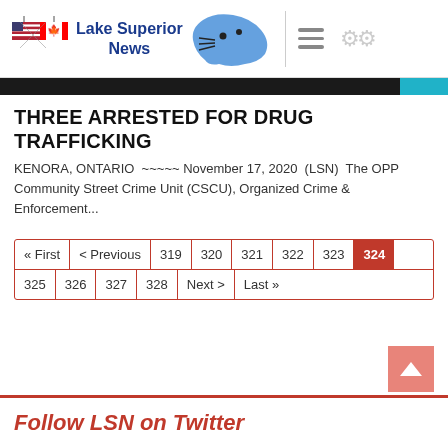[Figure (logo): Lake Superior News logo with US and Canadian flags and blue lake map silhouette]
THREE ARRESTED FOR DRUG TRAFFICKING
KENORA, ONTARIO  ~~~~~ November 17, 2020  (LSN)  The OPP Community Street Crime Unit (CSCU), Organized Crime & Enforcement...
Pagination: « First | < Previous | 319 | 320 | 321 | 322 | 323 | 324 (current) | 325 | 326 | 327 | 328 | Next › | Last »
Follow LSN on Twitter